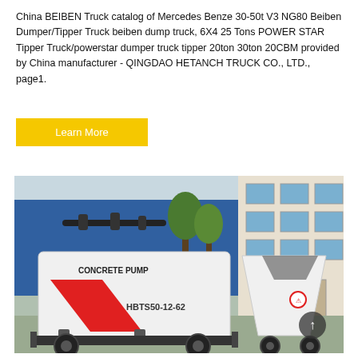China BEIBEN Truck catalog of Mercedes Benze 30-50t V3 NG80 Beiben Dumper/Tipper Truck beiben dump truck, 6X4 25 Tons POWER STAR Tipper Truck/powerstar dumper truck tipper 20ton 30ton 20CBM provided by China manufacturer - QINGDAO HETANCH TRUCK CO., LTD., page1.
Learn More
[Figure (photo): Photo of a white concrete pump machine labeled 'CONCRETE PUMP' and 'HBTS50-12-62' with red diagonal stripes, on a wheeled trailer chassis. Background shows trees and a warehouse building.]